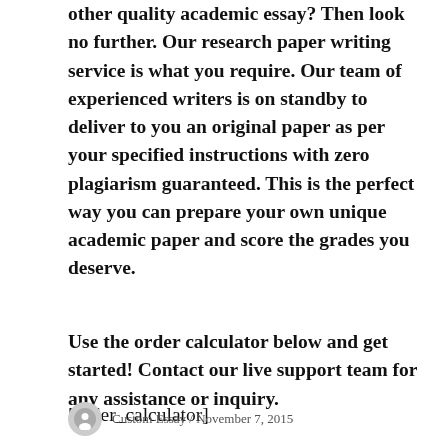other quality academic essay? Then look no further. Our research paper writing service is what you require. Our team of experienced writers is on standby to deliver to you an original paper as per your specified instructions with zero plagiarism guaranteed. This is the perfect way you can prepare your own unique academic paper and score the grades you deserve.
Use the order calculator below and get started! Contact our live support team for any assistance or inquiry.
[order_calculator]
Custom Essay / November 7, 2015